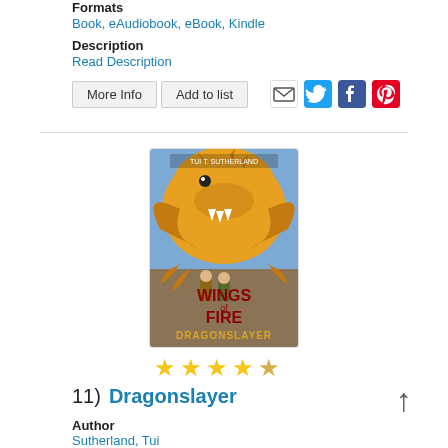Formats
Book, eAudiobook, eBook, Kindle
Description
Read Description
More Info | Add to list
[Figure (illustration): Book cover for Wings of Fire: Dragonslayer by Tui T. Sutherland, featuring a large yellow dragon, children, and the title in red and gold text.]
★★★★★ (4.5 stars)
11)  Dragonslayer
Author
Sutherland, Tui
Formats